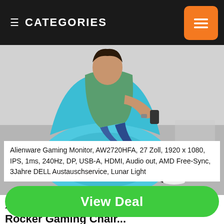CATEGORIES
[Figure (photo): Person sitting in a blue XRocker gaming chair on a carpet, wearing jeans and black sneakers, holding a controller]
XRocker Nintendo AllStar Luigi Video Rocker Gaming Chair...
AED299
Alienware Gaming Monitor, AW2720HFA, 27 Zoll, 1920 x 1080, IPS, 1ms, 240Hz, DP, USB-A, HDMI, Audio out, AMD Free-Sync, 3Jahre DELL Austauschservice, Lunar Light
View Deal